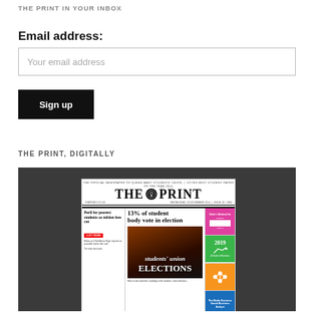THE PRINT IN YOUR INBOX
Email address:
Your email address
Sign up
THE PRINT, DIGITALLY
[Figure (screenshot): A screenshot of The Print newspaper front page showing the headline '13% of student body vote in election' and 'Peril for poorest students as tuition fees cut', with students' union elections image and sidebar boxes in pink, green, orange and blue.]